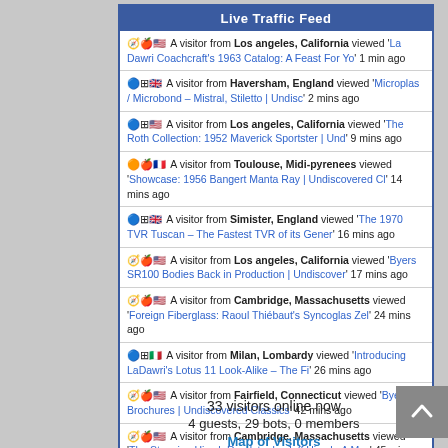Live Traffic Feed
A visitor from Los angeles, California viewed 'La Dawri Coachcraft's 1963 Catalog: A Feast For Yo' 1 min ago
A visitor from Haversham, England viewed 'Microplas / Microbond – Mistral, Stiletto | Undisc' 2 mins ago
A visitor from Los angeles, California viewed 'The Roth Collection: 1952 Maverick Sportster | Und' 9 mins ago
A visitor from Toulouse, Midi-pyrenees viewed 'Showcase: 1956 Bangert Manta Ray | Undiscovered Cl' 14 mins ago
A visitor from Simister, England viewed 'The 1970 TVR Tuscan – The Fastest TVR of its Gener' 16 mins ago
A visitor from Los angeles, California viewed 'Byers SR100 Bodies Back in Production | Undiscover' 17 mins ago
A visitor from Cambridge, Massachusetts viewed 'Foreign Fiberglass: Raoul Thiébaut's Syncoglas Zel' 24 mins ago
A visitor from Milan, Lombardy viewed 'Introducing LaDawri's Lotus 11 Look-Alike – The Fi' 26 mins ago
A visitor from Fairfield, Connecticut viewed 'Byers Brochures | Undiscovered Classics' 42 mins ago
A visitor from Cambridge, Massachusetts viewed 'The Stunning Hirsch Roadster by Jeff Hirsch: A Mys' 45 mins ago
Real-time | Get Script | More Info
33 visitors online now
4 guests, 29 bots, 0 members
Map of Visitors